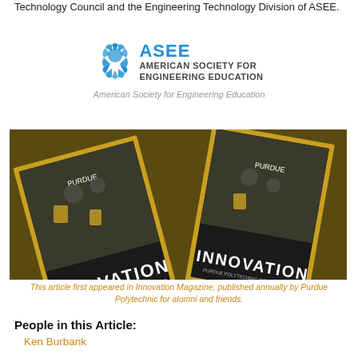Technology Council and the Engineering Technology Division of ASEE.
[Figure (logo): ASEE American Society for Engineering Education logo with blue gear icon]
American Society for Engineering Education
[Figure (photo): Multiple copies of Innovation Magazine published by Purdue Polytechnic, showing students working on projects, arranged in overlapping layout with gold borders]
This article first appeared in Innovation Magazine, published annually by Purdue Polytechnic for alumni and friends.
People in this Article:
Ken Burbank